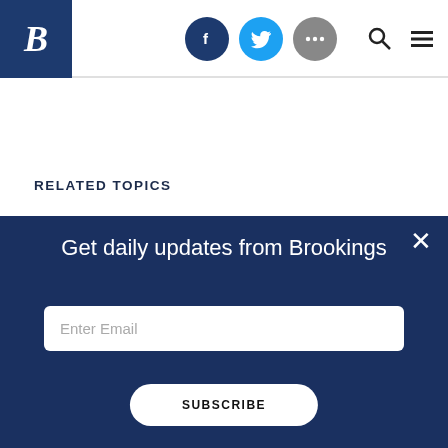Brookings Institution website header with logo, social icons (Facebook, Twitter, more), search and menu
RELATED TOPICS
Humanitarian & Disaster Assistance
Migrants, Refugees and Internally Displaced Persons
Get daily updates from Brookings
Enter Email
SUBSCRIBE